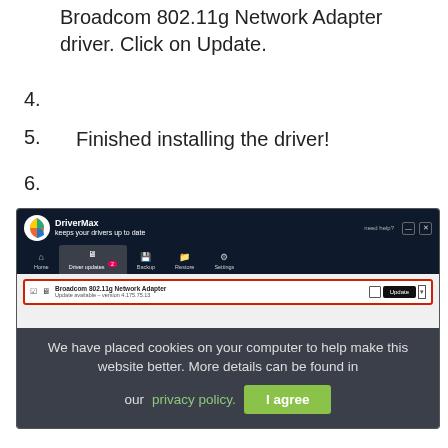Broadcom 802.11g Network Adapter driver. Click on Update.
4.
5. Finished installing the driver!
6.
[Figure (screenshot): DriverMax application window showing Driver updates tab with Broadcom 802.11g Network Adapter listed with an Update button, overlaid by a cookie consent banner reading 'We have placed cookies on your computer to help make this website better. More details can be found in our privacy policy.' with an 'I agree' button.]